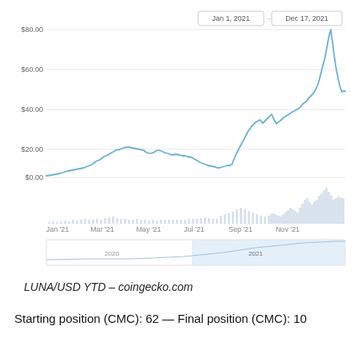[Figure (line-chart): Line chart showing LUNA/USD price from Jan 1, 2021 to Dec 17, 2021, rising from near $0 to a peak near $80, with volume bars below and a range selector at the bottom.]
LUNA/USD YTD – coingecko.com
Starting position (CMC): 62 — Final position (CMC): 10